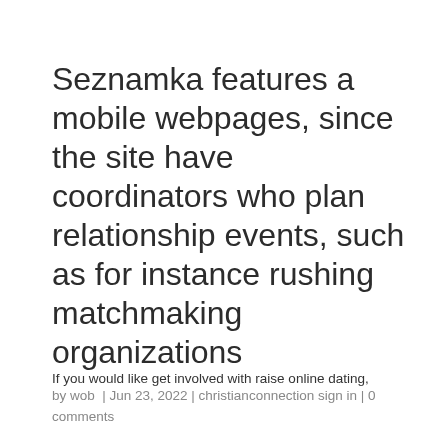Seznamka features a mobile webpages, since the site have coordinators who plan relationship events, such as for instance rushing matchmaking organizations
by wob  |  Jun 23, 2022  |  christianconnection sign in  |  0 comments
If you would like get involved with raise online dating,